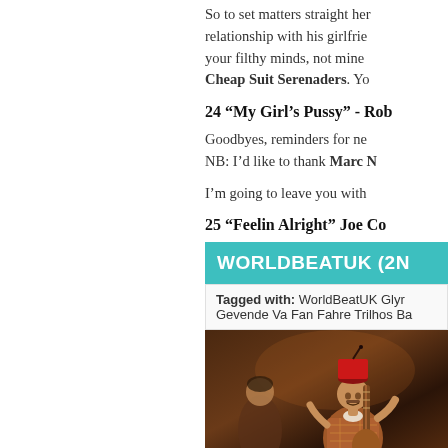So to set matters straight here, his relationship with his girlfriend (get your filthy minds, not mine) ... Cheap Suit Serenaders. Yo...
24 “My Girl’s Pussy” - Rob...
Goodbyes, reminders for ne... NB: I’d like to thank Marc N...
I’m going to leave you with...
25 “Feelin Alright” Joe Co...
[Figure (other): Teal banner reading WORLDBEATUK (2N...]
Tagged with: WorldBeatUK Glyr... Gevende Va Fan Fahre Trilhos Ba...
[Figure (photo): A performer on stage wearing a red fez hat and playing a stringed instrument, with another performer visible in the background.]